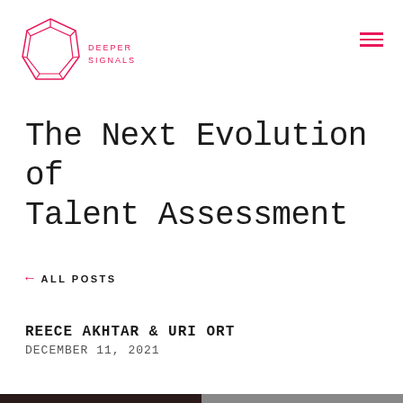[Figure (logo): Deeper Signals logo: pink geometric polygon shape with text DEEPER SIGNALS in pink capital letters]
The Next Evolution of Talent Assessment
← ALL POSTS
REECE AKHTAR & URI ORT
DECEMBER 11, 2021